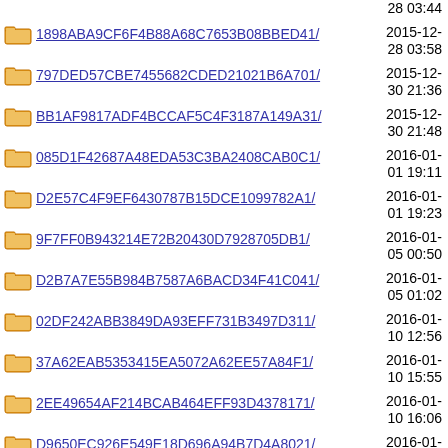(partial top row) 28 03:44
1898ABA9CF6F4B88A68C7653B08BBED41/ 2015-12-28 03:58
797DED57CBE7455682CDED21021B6A701/ 2015-12-30 21:36
BB1AF9817ADF4BCCAF5C4F3187A149A31/ 2015-12-30 21:48
085D1F42687A48EDA53C3BA2408CAB0C1/ 2016-01-01 19:11
D2E57C4F9EF6430787B15DCE1099782A1/ 2016-01-01 19:23
9F7FF0B943214E72B20430D7928705DB1/ 2016-01-05 00:50
D2B7A7E55B984B7587A6BACD34F41C041/ 2016-01-05 01:02
02DF242ABB3849DA93EFF731B3497D311/ 2016-01-10 12:56
37A62EAB5353415EA5072A62EE57A84F1/ 2016-01-10 15:55
2EE49654AF214BCAB464EFF93D4378171/ 2016-01-10 16:06
D9650EC926E549E18D696A94B7D4A8021/ 2016-01-17 17:15